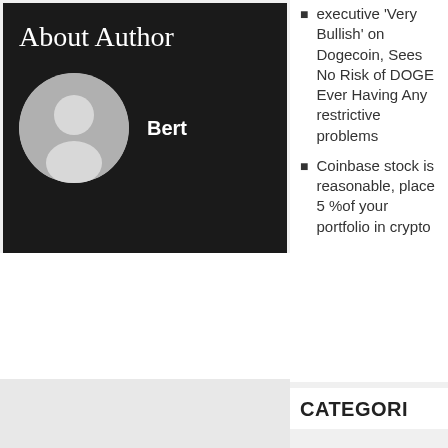About Author
Bert
executive 'Very Bullish' on Dogecoin, Sees No Risk of DOGE Ever Having Any restrictive problems
Coinbase stock is reasonable, place 5 %of your portfolio in crypto
CATEGORI